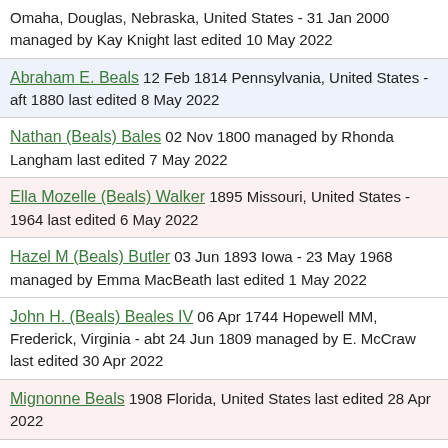Omaha, Douglas, Nebraska, United States - 31 Jan 2000 managed by Kay Knight last edited 10 May 2022
Abraham E. Beals 12 Feb 1814 Pennsylvania, United States - aft 1880 last edited 8 May 2022
Nathan (Beals) Bales 02 Nov 1800 managed by Rhonda Langham last edited 7 May 2022
Ella Mozelle (Beals) Walker 1895 Missouri, United States - 1964 last edited 6 May 2022
Hazel M (Beals) Butler 03 Jun 1893 Iowa - 23 May 1968 managed by Emma MacBeath last edited 1 May 2022
John H. (Beals) Beales IV 06 Apr 1744 Hopewell MM, Frederick, Virginia - abt 24 Jun 1809 managed by E. McCraw last edited 30 Apr 2022
Mignonne Beals 1908 Florida, United States last edited 28 Apr 2022
Grace Mary Katharine (Beals) Schlatter...